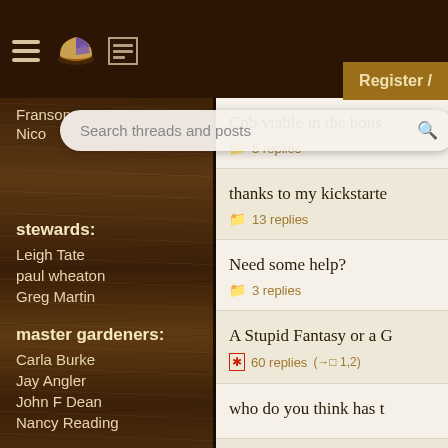Forum header with hamburger menu, pie icon, list icon, and Register button
Franson
Nico
Search threads and posts
stewards:
Leigh Tate
paul wheaton
Greg Martin
master gardeners:
Carla Burke
Jay Angler
John F Dean
Nancy Reading
gardeners:
Beau Davidson
thomas rubino
Edward Norton
Cob viable in the hous
5 replies
thanks to my kickstarte
13 replies
Need some help?
3 replies
A Stupid Fantasy or a G
60 replies  (→□ 1,2)
who do you think has t